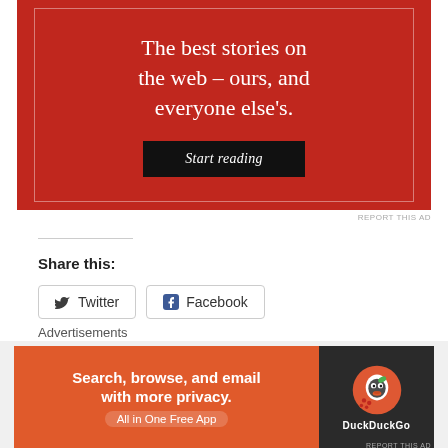[Figure (screenshot): Red advertisement banner with white serif text 'The best stories on the web – ours, and everyone else's.' and a black 'Start reading' button]
REPORT THIS AD
Share this:
[Figure (screenshot): Twitter share button with bird icon]
[Figure (screenshot): Facebook share button with f icon]
Loading…
Advertisements
[Figure (screenshot): DuckDuckGo advertisement: Search, browse, and email with more privacy. All in One Free App]
REPORT THIS AD